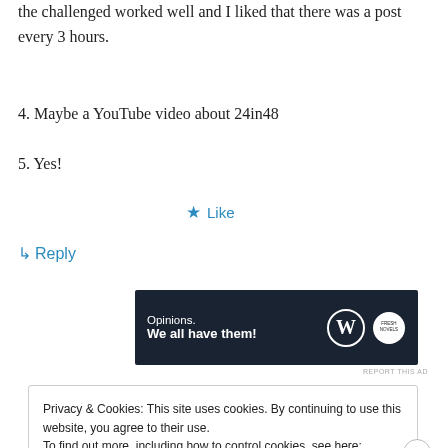the challenged worked well and I liked that there was a post every 3 hours.
4. Maybe a YouTube video about 24in48
5. Yes!
★ Like
↳ Reply
[Figure (other): Advertisement banner with dark navy background. Text reads 'Opinions. We all have them!' with WordPress and Fresh Novels logos on the right.]
REPORT THIS AD
Privacy & Cookies: This site uses cookies. By continuing to use this website, you agree to their use.
To find out more, including how to control cookies, see here: Cookie Policy
Close and accept